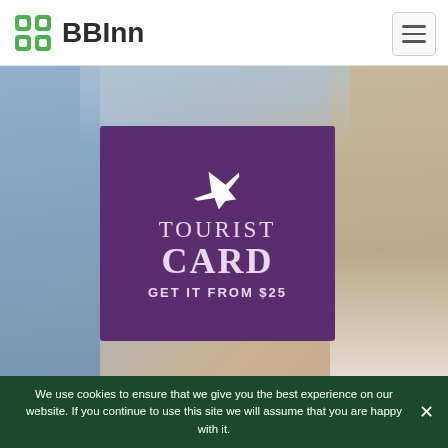BBInn
[Figure (screenshot): Website screenshot showing BBInn hotel booking site with a hero image of a woman holding a card, overlaid with a purple promotional box reading TOURIST CARD GET IT FROM $25 with an airplane icon]
We use cookies to ensure that we give you the best experience on our website. If you continue to use this site we will assume that you are happy with it.